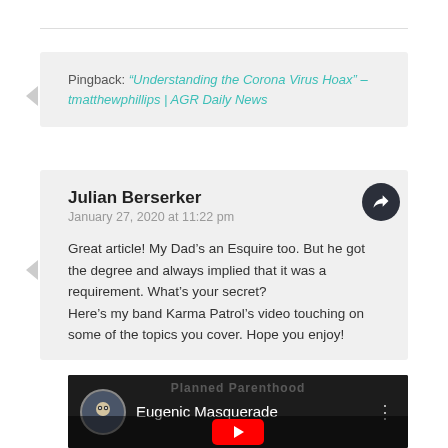Pingback: “Understanding the Corona Virus Hoax” – tmatthewphillips | AGR Daily News
Julian Berserker
January 27, 2020 at 11:22 pm
Great article! My Dad’s an Esquire too. But he got the degree and always implied that it was a requirement. What’s your secret?
Here’s my band Karma Patrol’s video touching on some of the topics you cover. Hope you enjoy!
[Figure (screenshot): YouTube video thumbnail showing 'Eugenic Masquerade' with a dark background, a circular avatar of an owl, and a red play button. The text 'Planned Parenthood' is faintly visible as a watermark.]